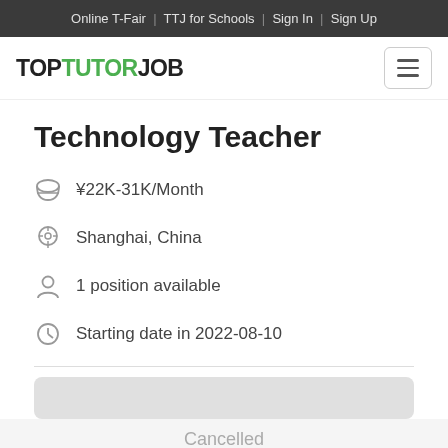Online T-Fair | TTJ for Schools | Sign In | Sign Up
TOPTUTORJOB
Technology Teacher
¥22K-31K/Month
Shanghai, China
1 position available
Starting date in 2022-08-10
Cancelled